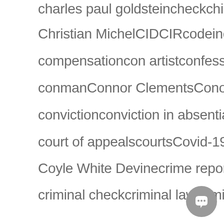charles paul goldstein  check  china
Christian Michel  CID  CIR  codeine
compensation  con artist  confession
conman  Connor Clements  Conor Howard
conviction  conviction in absentia  corruption
court of appeals  courts  Covid-19
Coyle White Devine  crime reports
criminal check  criminal law  criminalised
[Figure (other): Chat/message button icon in bottom right corner]